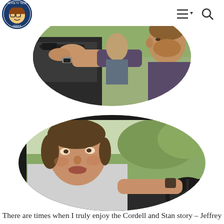Movie TV Tech Geeks – navigation header with logo and icons
[Figure (photo): A man in a dark shirt aiming a handgun out of a vehicle window, with another person visible in the background inside the vehicle. The image has an oval/rounded rectangle crop.]
[Figure (photo): A man with medium-length hair wearing a light shirt, driving a vehicle, looking intensely forward. The image has an oval/rounded rectangle crop with outdoor scenery visible through the windshield.]
There are times when I truly enjoy the Cordell and Stan story – Jeffrey